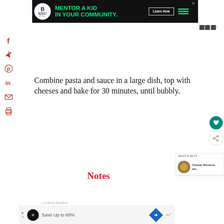[Figure (other): Big Brothers Big Sisters advertisement banner - black background with green text 'MENTOR A KID IN YOUR COMMUNITY.' and Learn How button]
[Figure (other): Social media sharing sidebar with Facebook, Twitter, Pinterest, LinkedIn, email, and print icons in red]
Combine pasta and sauce in a large dish, top with cheeses and bake for 30 minutes, until bubbly.
Notes
[Figure (other): What's Next sidebar showing Cheese Wontons with thumbnail image]
[Figure (other): Bottom advertisement banner - Save Up to 65%]